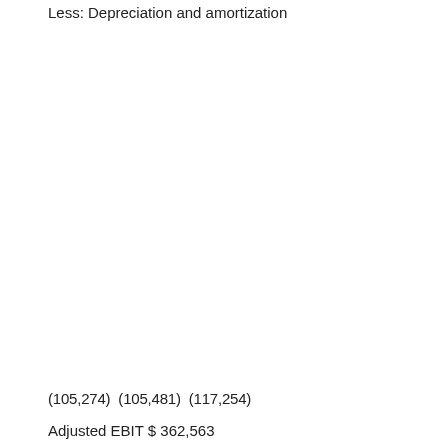Less: Depreciation and amortization
(105,274) (105,481) (117,254)
Adjusted EBIT $ 362,563